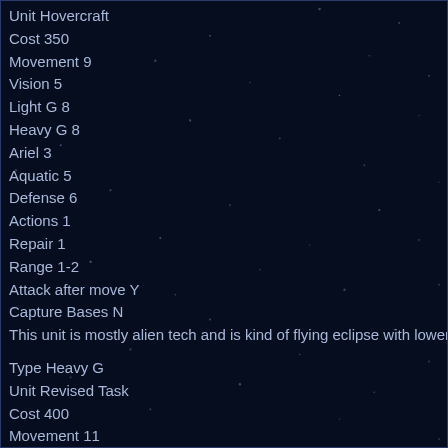Unit Hovercraft
Cost 350
Movement 9
Vision 5
Light G 8
Heavy G 8
Ariel 3
Aquatic 5
Defense 6
Actions 1
Repair 1
Range 1-2
Attack after move Y
Capture Bases N
This unit is mostly alien tech and is kind of flying eclipse with lower anti air
Type Heavy G
Unit Revised Task
Cost 400
Movement 11
Vision 4
Light G 6
Heavy G 8
Ariel 6
Aquatic 5